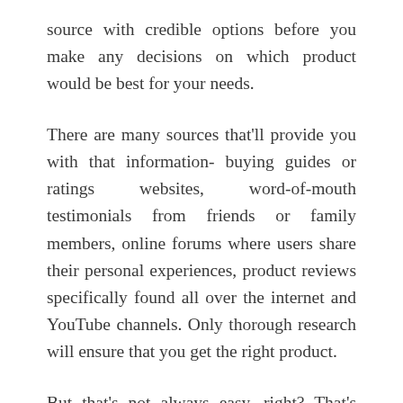source with credible options before you make any decisions on which product would be best for your needs.
There are many sources that'll provide you with that information- buying guides or ratings websites, word-of-mouth testimonials from friends or family members, online forums where users share their personal experiences, product reviews specifically found all over the internet and YouTube channels. Only thorough research will ensure that you get the right product.
But that's not always easy, right? That's why we've taken time to compile a list of the best Tikka